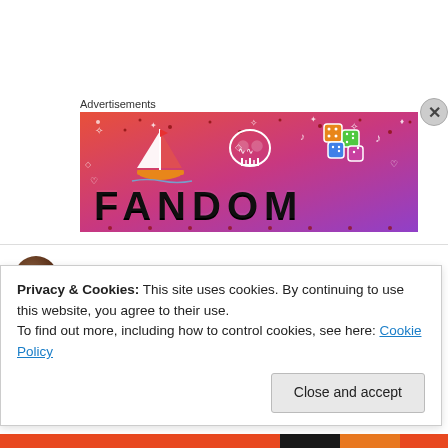Advertisements
[Figure (illustration): Fandom advertisement banner with gradient background (orange to purple), featuring a sailboat illustration, skull, colorful dice, white doodle decorations, and the word FANDOM in large bold letters]
sakura on 18 July, 2012 at 11:50 am
Thank you all for commenting and the...
Privacy & Cookies: This site uses cookies. By continuing to use this website, you agree to their use.
To find out more, including how to control cookies, see here: Cookie Policy
Close and accept